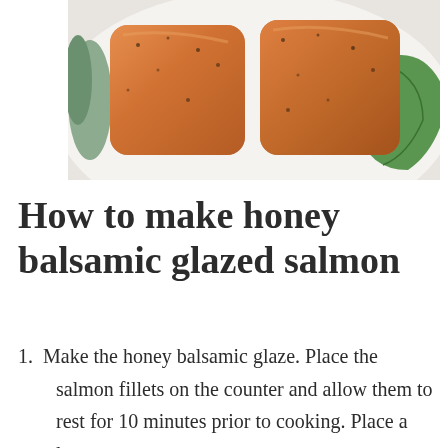[Figure (photo): Two glazed salmon fillets on a white plate, garnished with green leafy vegetables, viewed from above.]
How to make honey balsamic glazed salmon
1. Make the honey balsamic glaze. Place the salmon fillets on the counter and allow them to rest for 10 minutes prior to cooking. Place a large pan over